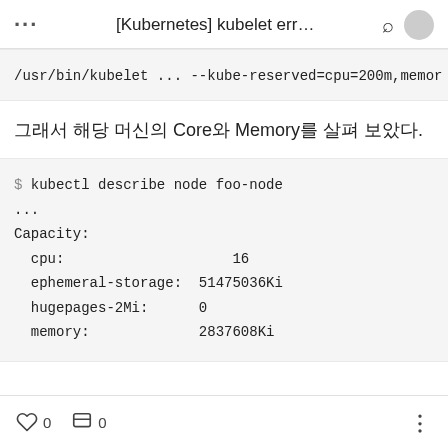[Kubernetes] kubelet err…
/usr/bin/kubelet ... --kube-reserved=cpu=200m,memor
그래서 해당 머신의 Core와 Memory를 살펴 보았다.
$ kubectl describe node foo-node
...
Capacity:
  cpu:                    16
  ephemeral-storage:  51475036Ki
  hugepages-2Mi:      0
  memory:             2837608Ki
0  0